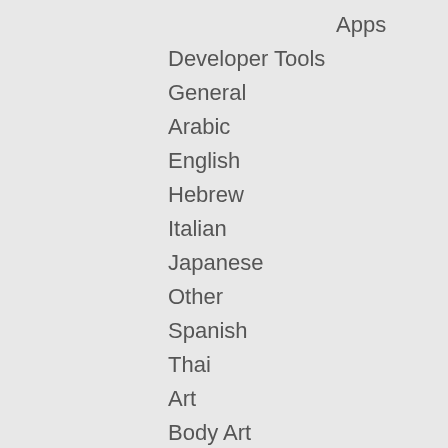Apps
Developer Tools
General
Arabic
English
Hebrew
Italian
Japanese
Other
Spanish
Thai
Art
Body Art
Dance
Fashion
Film & Television
Humor